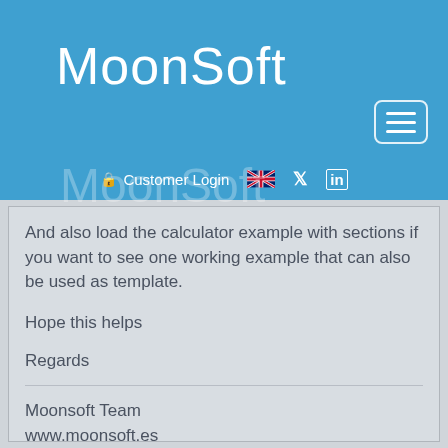MoonSoft
[Figure (screenshot): Hamburger menu button with three horizontal white lines inside a rounded rectangle border]
Customer Login (with UK flag, Twitter, and LinkedIn icons)
And also load the calculator example with sections if you want to see one working example that can also be used as template.
Hope this helps
Regards
Moonsoft Team
www.moonsoft.es